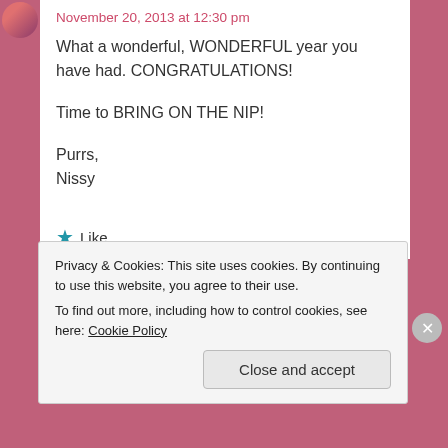November 20, 2013 at 12:30 pm
What a wonderful, WONDERFUL year you have had. CONGRATULATIONS!

Time to BRING ON THE NIP!

Purrs,
Nissy
★ Like
Privacy & Cookies: This site uses cookies. By continuing to use this website, you agree to their use.
To find out more, including how to control cookies, see here: Cookie Policy
Close and accept